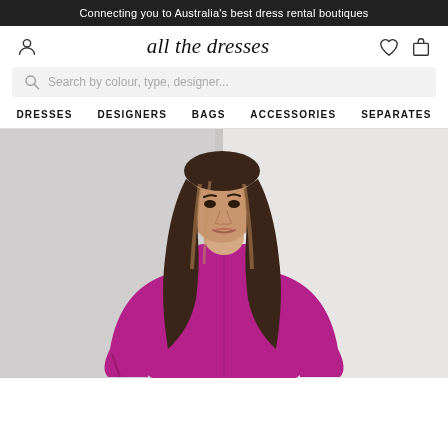Connecting you to Australia's best dress rental boutiques
[Figure (logo): all the dresses script logo with user icon on left and heart/bag icons on right]
Search by colour, type, designer...
DRESSES  DESIGNERS  BAGS  ACCESSORIES  SEPARATES
[Figure (photo): Young woman with long highlighted brown hair wearing a magenta/purple long-sleeve mock-neck dress, photographed against a white wall]